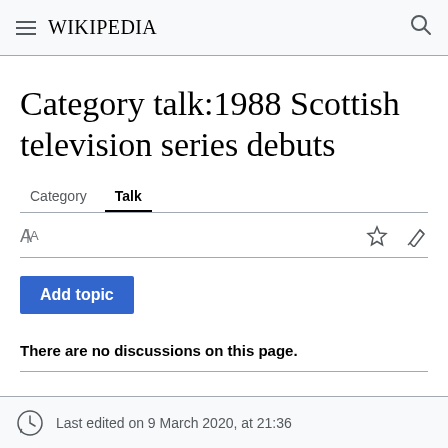Wikipedia
Category talk:1988 Scottish television series debuts
Category  Talk
Add topic
There are no discussions on this page.
Last edited on 9 March 2020, at 21:36